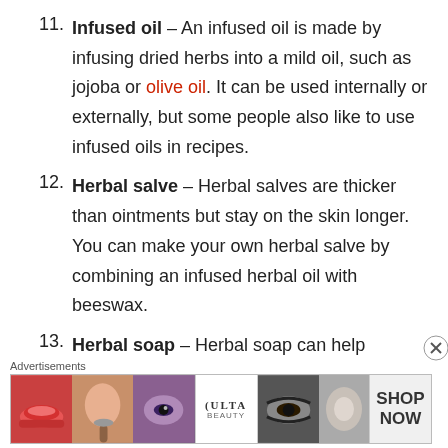11. Infused oil – An infused oil is made by infusing dried herbs into a mild oil, such as jojoba or olive oil. It can be used internally or externally, but some people also like to use infused oils in recipes.
12. Herbal salve – Herbal salves are thicker than ointments but stay on the skin longer. You can make your own herbal salve by combining an infused herbal oil with beeswax.
13. Herbal soap – Herbal soap can help disinfect the skin and treat skin issues. To make
[Figure (infographic): Advertisement banner with Ulta Beauty cosmetics ad showing makeup images and 'SHOP NOW' text, with close button]